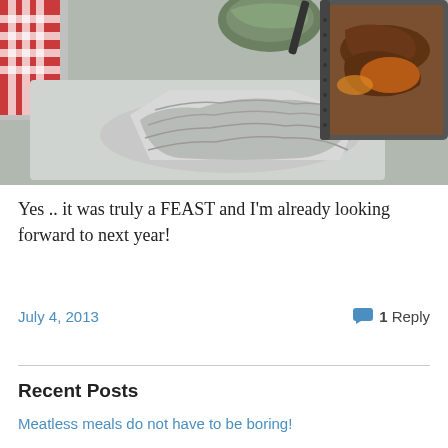[Figure (photo): Food photo showing a tray with a foil-wrapped item, a bowl of salad, and a metal pan with cooked meat and vegetables. A red and white checkered cloth is visible on the left.]
Yes .. it was truly a FEAST and I'm already looking forward to next year!
July 4, 2013      1 Reply
Recent Posts
Meatless meals do not have to be boring!